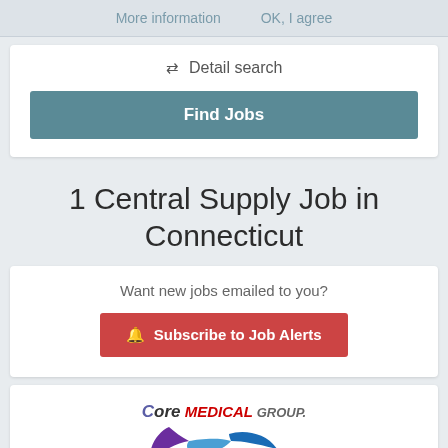More information   OK, I agree
≡ Detail search
Find Jobs
1 Central Supply Job in Connecticut
Want new jobs emailed to you?
🔔 Subscribe to Job Alerts
[Figure (logo): CoreMedical Group logo with purple and blue stylized bird/wing shape below the text]